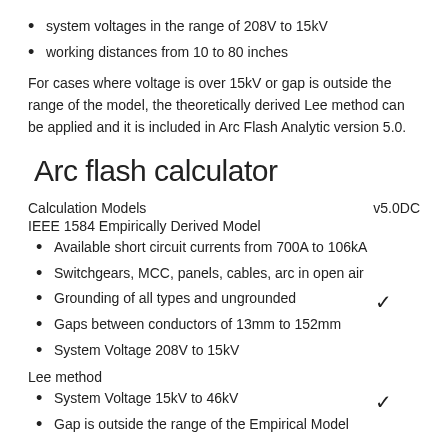system voltages in the range of 208V to 15kV
working distances from 10 to 80 inches
For cases where voltage is over 15kV or gap is outside the range of the model, the theoretically derived Lee method can be applied and it is included in Arc Flash Analytic version 5.0.
Arc flash calculator
Calculation Models	v5.0DC
IEEE 1584 Empirically Derived Model
Available short circuit currents from 700A to 106kA
Switchgears, MCC, panels, cables, arc in open air
Grounding of all types and ungrounded
Gaps between conductors of 13mm to 152mm
System Voltage 208V to 15kV
Lee method
System Voltage 15kV to 46kV
Gap is outside the range of the Empirical Model